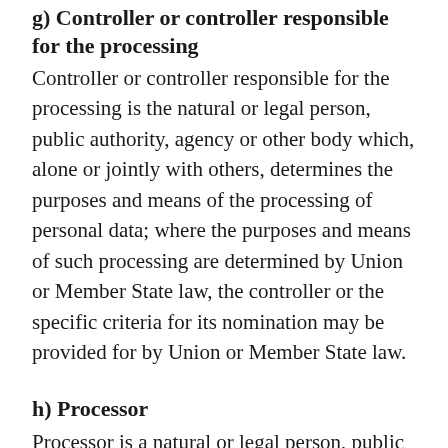g) Controller or controller responsible for the processing
Controller or controller responsible for the processing is the natural or legal person, public authority, agency or other body which, alone or jointly with others, determines the purposes and means of the processing of personal data; where the purposes and means of such processing are determined by Union or Member State law, the controller or the specific criteria for its nomination may be provided for by Union or Member State law.
h) Processor
Processor is a natural or legal person, public authority, agency or other body which processes